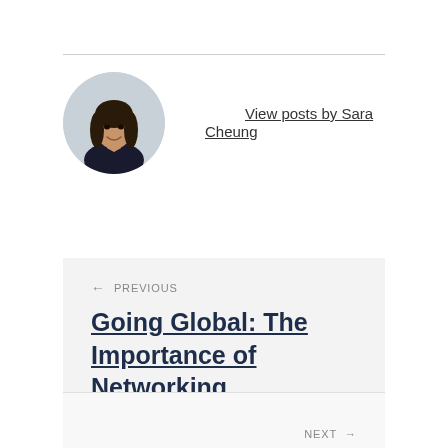[Figure (photo): Circular profile photo of Sara Cheung, a young woman with long dark hair, wearing a dark blazer, smiling]
View posts by Sara Cheung
← PREVIOUS
Going Global: The Importance of Networking
NEXT →